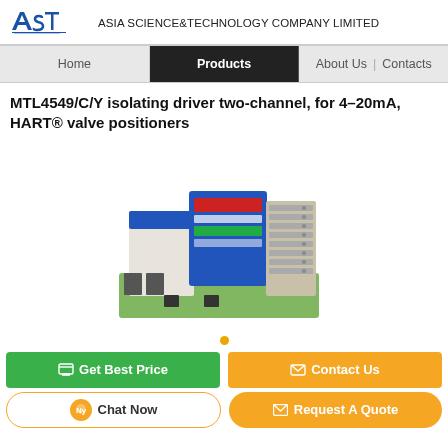ASIA SCIENCE&TECHNOLOGY COMPANY LIMITED
[Figure (logo): AST logo — blue stylized letters with speed lines]
[Figure (screenshot): Website navigation bar with Home, Products (active), About Us, Contacts]
MTL4549/C/Y isolating driver two-channel, for 4–20mA, HART® valve positioners
[Figure (photo): Photo of MTL4549/C/Y isolating driver module — a blue and beige DIN-rail mounted electronic device with terminal blocks]
[Figure (other): Orange dot carousel indicator]
Get Best Price
Contact Us
Chat Now
Request A Quote